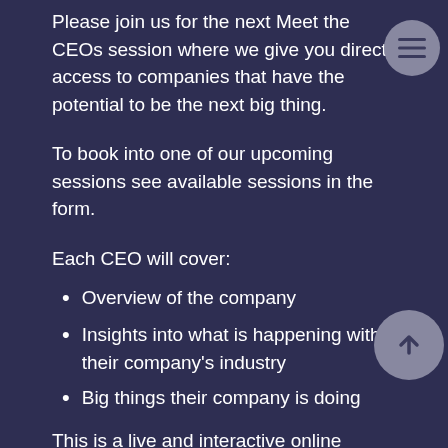Please join us for the next Meet the CEOs session where we give you direct access to companies that have the potential to be the next big thing.
To book into one of our upcoming sessions see available sessions in the form.
Each CEO will cover:
Overview of the company
Insights into what is happening within their company's industry
Big things their company is doing
This is a live and interactive online session and participants are